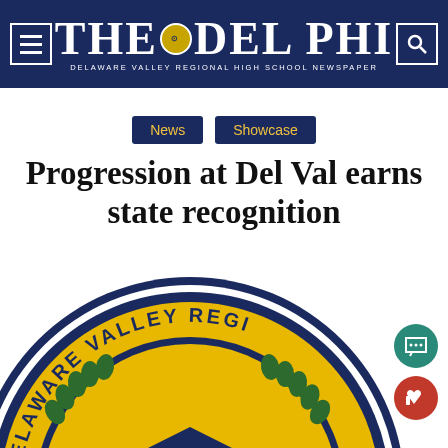THE DELPHI — DELAWARE VALLEY REGIONAL HIGH SCHOOL NEWSPAPER
News
Showcase
Progression at Del Val earns state recognition
[Figure (logo): Delaware Valley Regional High School circular seal in gold and navy blue, showing a graduation cap and laurel branches, with text 'DELAWARE VALLEY REGI...' around the border]